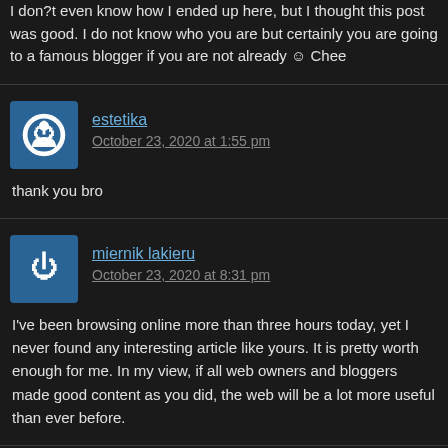I don?t even know how I ended up here, but I thought this post was good. I do not know who you are but certainly you are going to a famous blogger if you are not already ☺ Chee
estetika
October 23, 2020 at 1:55 pm
thank you bro
miernik lakieru
October 23, 2020 at 8:31 pm
I've been browsing online more than three hours today, yet I never found any interesting article like yours. It is pretty worth enough for me. In my view, if all web owners and bloggers made good content as you did, the web will be a lot more useful than ever before.
simon kontakt
October 24, 2020 at 7:06 am
Heya i am for the first time here. I found this board and I find It really useful & it helped me much. I hope to give something back and aid others like you aided me.